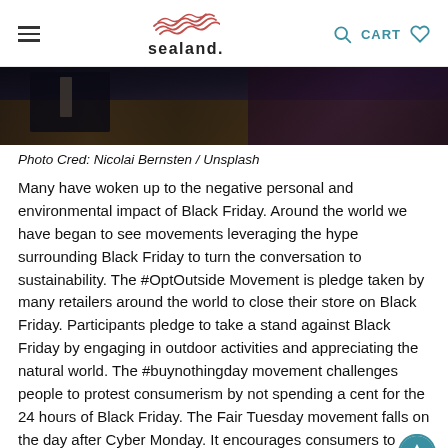sealand.
[Figure (photo): Dark photograph showing a person near a wooden log or rocky surface, bottom portion of an outdoor scene]
Photo Cred: Nicolai Bernsten / Unsplash
Many have woken up to the negative personal and environmental impact of Black Friday. Around the world we have began to see movements leveraging the hype surrounding Black Friday to turn the conversation to sustainability. The #OptOutside Movement is pledge taken by many retailers around the world to close their store on Black Friday. Participants pledge to take a stand against Black Friday by engaging in outdoor activities and appreciating the natural world. The #buynothingday movement challenges people to protest consumerism by not spending a cent for the 24 hours of Black Friday. The Fair Tuesday movement falls on the day after Cyber Monday. It encourages consumers to save